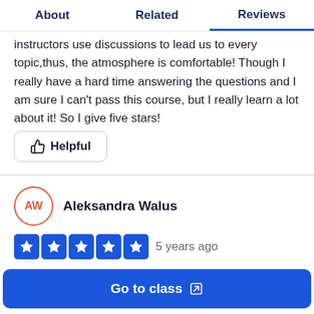About | Related | Reviews
instructors use discussions to lead us to every topic,thus, the atmosphere is comfortable! Though I really have a hard time answering the questions and I am sure I can't pass this course, but I really learn a lot about it! So I give five stars!
Helpful
Aleksandra Walus
5 years ago
Go to class